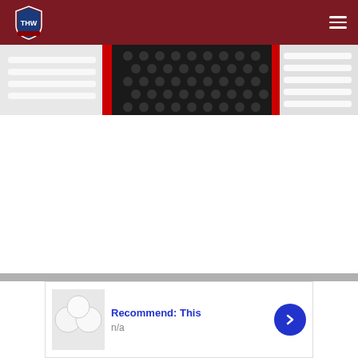THW The Hockey Writers
[Figure (photo): Close-up photo of hockey equipment — white and red padding/gloves with black hexagonal pattern background]
[Figure (photo): Recommend card thumbnail showing white round objects (possibly pucks or balls)]
Recommend: This
n/a